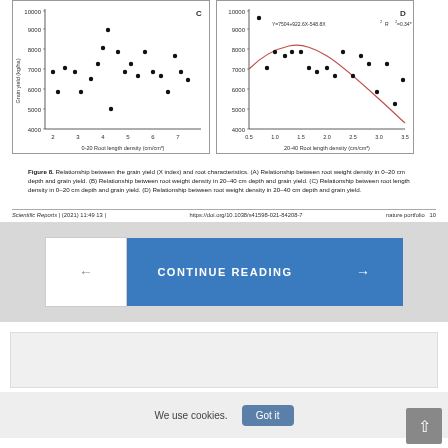[Figure (scatter-plot): Scatter plot C showing grain yield vs 0-20 cm root length density with no regression line shown]
[Figure (continuous-plot): Scatter plot D with quadratic regression: Y=7504+922.6X-548.8X², R²=0.34*]
Figure 8. Relationship between the grain yield (X index) and root characteristics. (A) Relationship between root weight density in 0–20 cm depth and grain yield. (B) Relationship between root weight density in 20–40 cm depth and grain yield. (C) Relationship between root length density in 0–20 cm depth and grain yield. (D) Relationship between root weight density in 20–40 cm depth and grain yield.
Scientific Reports | (2021) 11:49 13 | https://doi.org/10.1038/s41598-021-84208-7   nature portfolio   10
[Figure (other): Navigation band with previous arrow, CONTINUE READING button, next arrow]
[Figure (other): Grey content area below navigation]
We use cookies.
[Figure (other): Got it cookie consent button and scroll-to-top button]